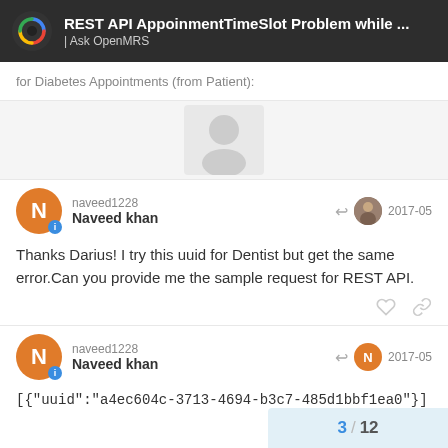REST API AppoinmentTimeSlot Problem while ... | Ask OpenMRS
for Diabetes Appointments (from Patient):
naveed1228
Naveed khan
2017-05
Thanks Darius! I try this uuid for Dentist but get the same error.Can you provide me the sample request for REST API.
naveed1228
Naveed khan
2017-05
[{"uuid":"a4ec604c-3713-4694-b3c7-485d1bbf1ea0"}]
3 / 12